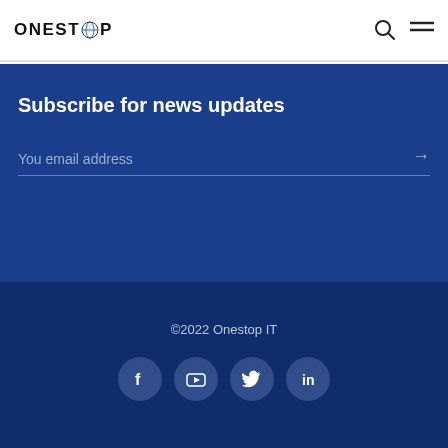ONESTOP
Subscribe for news updates
You email address
©2022 Onestop IT